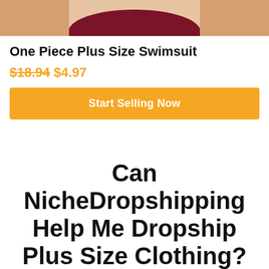[Figure (photo): Bottom portion of a person wearing a dark burgundy/maroon one-piece swimsuit, showing torso and upper hip area against a light background]
One Piece Plus Size Swimsuit
$18.94 $4.97
Start Selling Now
Can NicheDropshipping Help Me Dropship Plus Size Clothing?